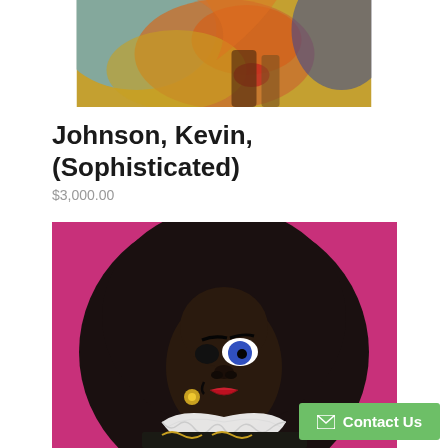[Figure (illustration): Top portion of a colorful painting showing warm orange/brown tones with blue accents, partially cropped]
Johnson, Kevin, (Sophisticated)
$3,000.00
[Figure (illustration): Painting of a figure with large black afro hair against a hot pink/magenta background, wearing a white lace collar and dark patterned garment, with stylized facial features including one blue eye and red lips, gold flower earring]
Contact Us